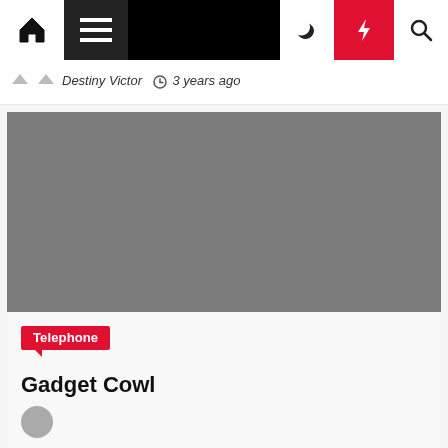Navigation bar with home, hamburger menu, moon/dark mode, lightning/trending, and search icons
Destiny Victor  3 years ago
[Figure (photo): Large gray placeholder image for an article thumbnail]
Telephone
Gadget Cowl